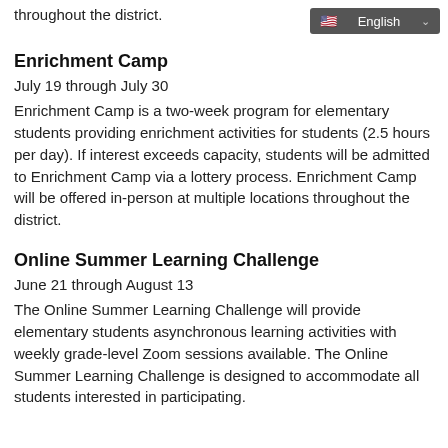throughout the district.
Enrichment Camp
July 19 through July 30
Enrichment Camp is a two-week program for elementary students providing enrichment activities for students (2.5 hours per day). If interest exceeds capacity, students will be admitted to Enrichment Camp via a lottery process. Enrichment Camp will be offered in-person at multiple locations throughout the district.
Online Summer Learning Challenge
June 21 through August 13
The Online Summer Learning Challenge will provide elementary students asynchronous learning activities with weekly grade-level Zoom sessions available. The Online Summer Learning Challenge is designed to accommodate all students interested in participating.